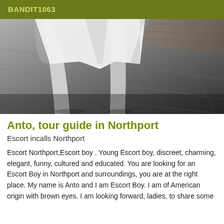BANDIT1063
[Figure (photo): Black and white photograph taken from above showing a person's legs wearing white shorts, standing on a dark tiled floor with a wooden surface visible at the top right.]
Anto, tour guide in Northport
Escort incalls Northport
Escort Northport,Escort boy . Young Escort boy, discreet, charming, elegant, funny, cultured and educated. You are looking for an Escort Boy in Northport and surroundings, you are at the right place. My name is Anto and I am Escort Boy. I am of American origin with brown eyes. I am looking forward, ladies, to share some